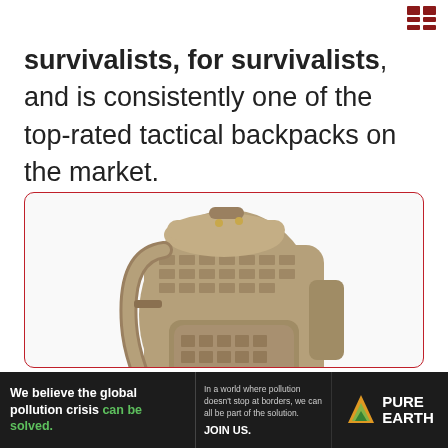[navigation icon]
survivalists, for survivalists, and is consistently one of the top-rated tactical backpacks on the market.
[Figure (photo): Tan/coyote brown tactical backpack with MOLLE webbing, multiple compartments, padded shoulder straps, shown from a 3/4 angle against a white background inside a red-bordered product box.]
[Figure (infographic): Advertisement banner: 'We believe the global pollution crisis can be solved.' with Pure Earth logo and call to action 'JOIN US.']